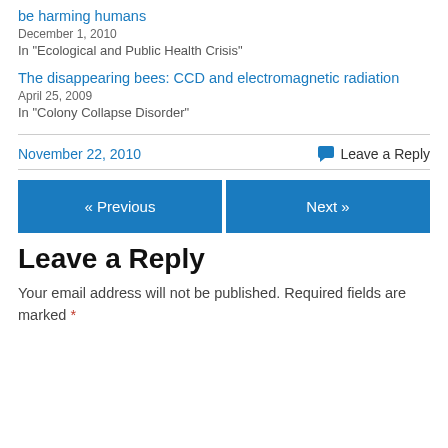be harming humans
December 1, 2010
In "Ecological and Public Health Crisis"
The disappearing bees: CCD and electromagnetic radiation
April 25, 2009
In "Colony Collapse Disorder"
November 22, 2010
Leave a Reply
« Previous
Next »
Leave a Reply
Your email address will not be published. Required fields are marked *